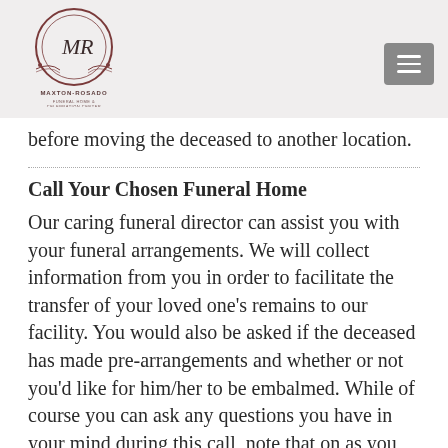[Figure (logo): Maxton-Rosado Funeral Home & Celebration Center circular logo with MR monogram]
before moving the deceased to another location.
Call Your Chosen Funeral Home
Our caring funeral director can assist you with your funeral arrangements. We will collect information from you in order to facilitate the transfer of your loved one’s remains to our facility. You would also be asked if the deceased has made pre-arrangements and whether or not you’d like for him/her to be embalmed. While of course you can ask any questions you have in your mind during this call, note that on as you